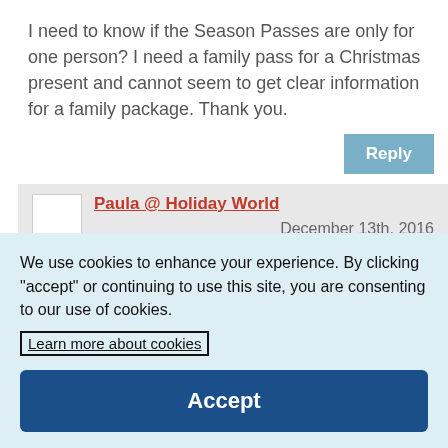I need to know if the Season Passes are only for one person? I need a family pass for a Christmas present and cannot seem to get clear information for a family package. Thank you.
Reply
Paula @ Holiday World
December 13th, 2016
We use cookies to enhance your experience. By clicking "accept" or continuing to use this site, you are consenting to our use of cookies.
Learn more about cookies
Accept